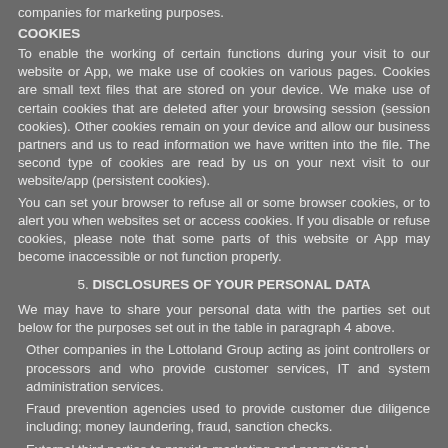companies for marketing purposes.
COOKIES
To enable the working of certain functions during your visit to our website or App, we make use of cookies on various pages. Cookies are small text files that are stored on your device. We make use of certain cookies that are deleted after your browsing session (session cookies). Other cookies remain on your device and allow our business partners and us to read information we have written into the file. The second type of cookies are read by us on your next visit to our website/app (persistent cookies).
You can set your browser to refuse all or some browser cookies, or to alert you when websites set or access cookies. If you disable or refuse cookies, please note that some parts of this website or App may become inaccessible or not function properly.
5. DISCLOSURES OF YOUR PERSONAL DATA
We may have to share your personal data with the parties set out below for the purposes set out in the table in paragraph 4 above.
Other companies in the Lottoland Group acting as joint controllers or processors and who provide customer services, IT and system administration services.
Fraud prevention agencies used to provide customer due diligence including; money laundering, fraud, sanction checks.
External third parties to provide marketing and promotional